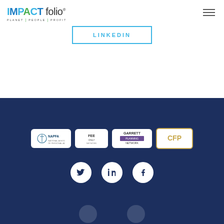IMPACTfolio — PLANET | PEOPLE | PROFIT
LINKEDIN
[Figure (logo): NAPFA logo — white background with rounded rectangle]
[Figure (logo): Fee Only Network logo — white background with rounded rectangle]
[Figure (logo): Garrett Planning Network logo — white background with rounded rectangle]
[Figure (logo): CFP logo — white background with gold/yellow border]
[Figure (logo): Twitter social icon — white circle on dark navy background]
[Figure (logo): LinkedIn social icon — white circle on dark navy background]
[Figure (logo): Facebook social icon — white circle on dark navy background]